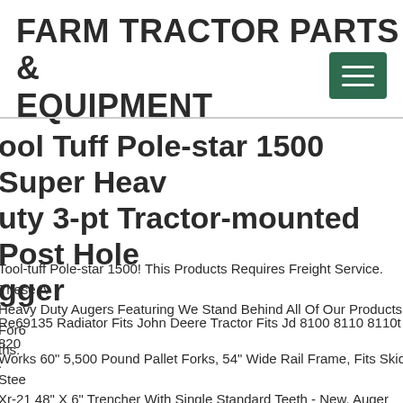FARM TRACTOR PARTS & EQUIPMENT
ool Tuff Pole-star 1500 Super Heavy Duty 3-pt Tractor-mounted Post Hole Digger
Tool-tuff Pole-star 1500! This Products Requires Freight Service. These Are Heavy Duty Augers Featuring We Stand Behind All Of Our Products For6 ths.
Re69135 Radiator Fits John Deere Tractor Fits Jd 8100 8110 8110t 820 .
Works 60" 5,500 Pound Pallet Forks, 54" Wide Rail Frame, Fits Skid Stee Xr-21 48" X 6" Trencher With Single Standard Teeth - New. Auger Drive 750 Classic Chain Reduction Drive - New. Auger Drive - Lowe 1650 Ch